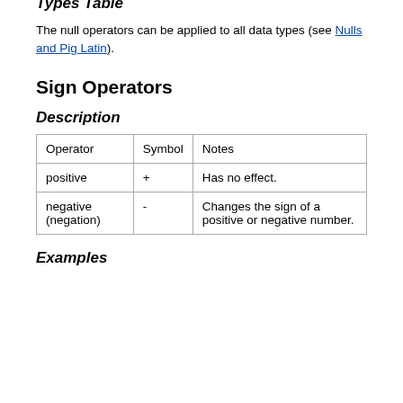For a detailed discussion of nulls see Nulls and Pig Latin.
Examples
In this example, values that are not null are obtained.
X = FILTER A BY f1 is not null;
Types Table
The null operators can be applied to all data types (see Nulls and Pig Latin).
Sign Operators
Description
| Operator | Symbol | Notes |
| --- | --- | --- |
| positive | + | Has no effect. |
| negative (negation) | - | Changes the sign of a positive or negative number. |